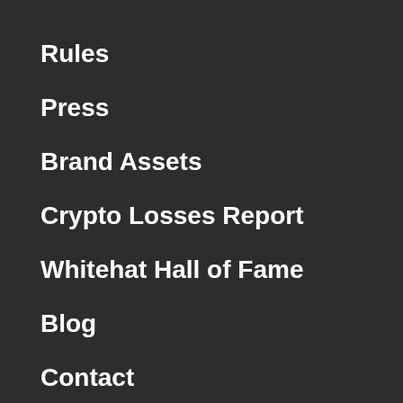Rules
Press
Brand Assets
Crypto Losses Report
Whitehat Hall of Fame
Blog
Contact
Help